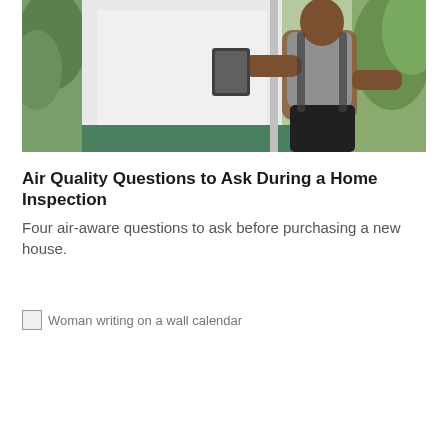[Figure (photo): A muscular man in a gray t-shirt holding a tablet or clipboard, inspecting a white door or wall panel, with green plants in the background.]
Air Quality Questions to Ask During a Home Inspection
Four air-aware questions to ask before purchasing a new house.
[Figure (photo): Woman writing on a wall calendar (broken image placeholder)]